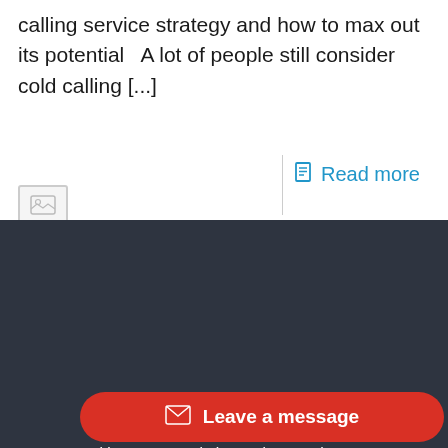calling service strategy and how to max out its potential   A lot of people still consider cold calling [...]
Read more
[Figure (other): Small image placeholder icon]
We use cookies on our website to give you the most relevant experience by remembering your preferences and repeat visits. By clicking “Accept”, you consent to the use of ALL the cookies.
We will never sell your information.
Settings
I ACCEPT
Leave a message